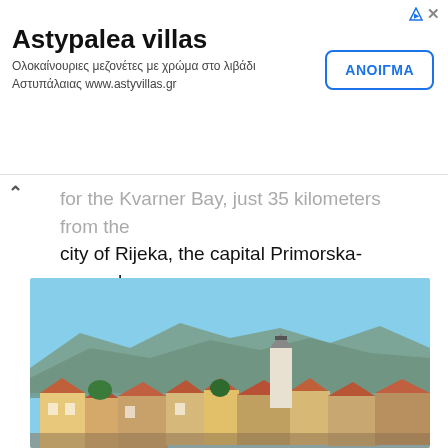[Figure (other): Advertisement banner for Astypalea villas with title, Greek subtitle, and ANOIGMA button]
...for the Kvarner Bay, just 35 kilometers from the city of Rijeka, the capital Primorska-goranska County. Rijeka is the major traffic hub and the largest Croatian port, which makes it maritime gateway for entire the Central Croatia and a considerable part of the Central Europe. Crikvenica is easily reached by roads from anywhere in Europe within a day.
[Figure (photo): Cityscape photo of Crikvenica showing rooftops, a church tower, and mountains in the background under a blue sky]